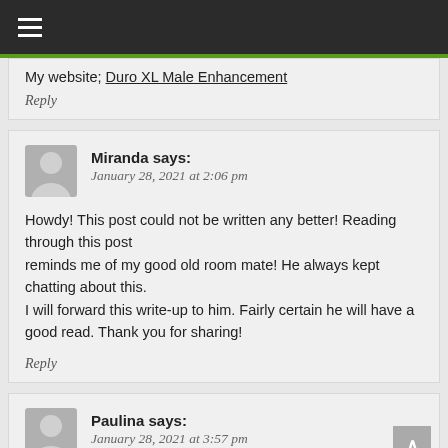≡ (navigation menu)
My website: Duro XL Male Enhancement
Reply
Miranda says: January 28, 2021 at 2:06 pm
Howdy! This post could not be written any better! Reading through this post reminds me of my good old room mate! He always kept chatting about this. I will forward this write-up to him. Fairly certain he will have a good read. Thank you for sharing!
Reply
Paulina says: January 28, 2021 at 3:57 pm